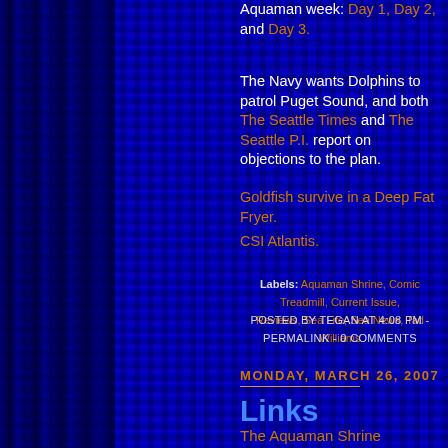Aquaman week: Day 1, Day 2, and Day 3.
The Navy wants Dolphins to patrol Puget Sound, and both The Seattle Times and The Seattle P.I. report on objections to the plan.
Goldfish survive in a Deep Fat Fryer.
CSI Atlantis.
Labels: Aquaman Shrine, Comic Treadmill, Current Issue, Reviews, Sea Life, Sea News, Tad Williams
POSTED BY TEGAN AT 4:08 PM - PERMALINK - 0 COMMENTS
MONDAY, MARCH 26, 2007
Links
The Aquaman Shrine Interviews Dan